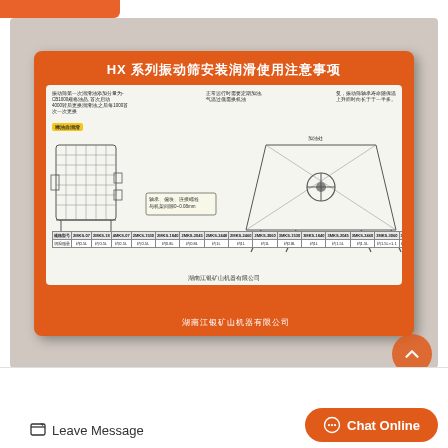[Figure (photo): Photograph of an orange instruction placard for HX series vibrating screen installation, lubrication and usage notes (HX系列振动筛安装润滑使用注意事项), showing technical diagrams of the screening equipment and a data table, made by 湖南江银矿山机器有限公司]
Trommel screen - Dasen Mining
Leave Message
Chat Online